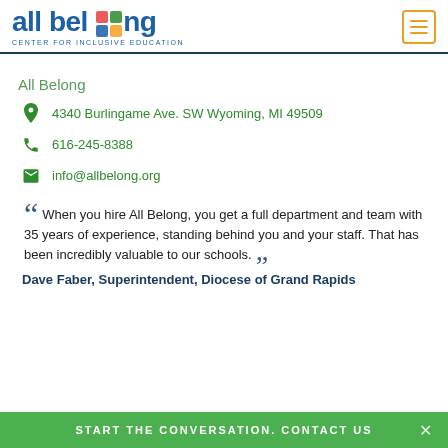[Figure (logo): All Belong Center for Inclusive Education logo with colorful puzzle-like icon]
All Belong
4340 Burlingame Ave. SW Wyoming, MI 49509
616-245-8388
info@allbelong.org
When you hire All Belong, you get a full department and team with 35 years of experience, standing behind you and your staff. That has been incredibly valuable to our schools.
Dave Faber, Superintendent, Diocese of Grand Rapids
START THE CONVERSATION. CONTACT US